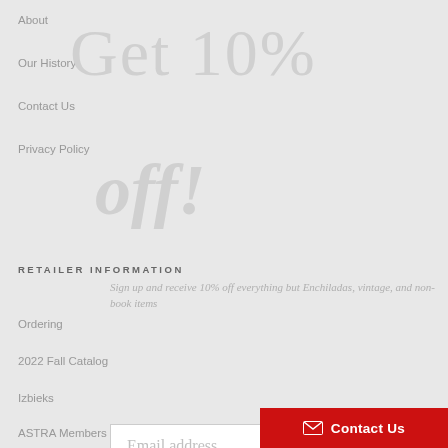About
Our History
Contact Us
Privacy Policy
Get 10% off!
RETAILER INFORMATION
Sign up and receive 10% off everything but Enchiladas, vintage, and non-book items
Ordering
2022 Fall Catalog
Izbieks
ASTRA Members
Email address
WORK WITH US
Join the Club
Rights
Educators
Librarians
Contact Us